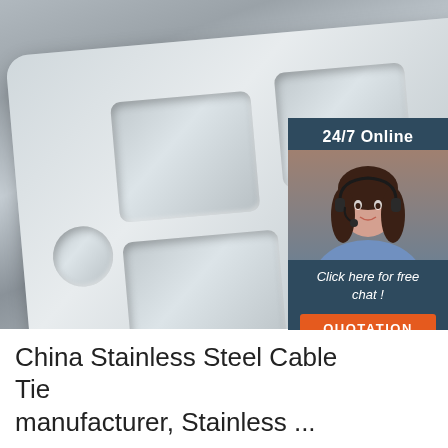[Figure (photo): Product photo of a stainless steel divided cafeteria food tray with multiple compartments, placed on a gray surface with geometric arrow pattern tablecloth. Overlaid chat widget showing a woman with headset, '24/7 Online', 'Click here for free chat!', and orange 'QUOTATION' button.]
China Stainless Steel Cable Tie manufacturer, Stainless ...